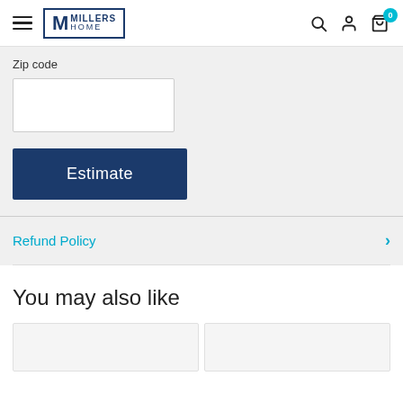Millers Home
Zip code
Estimate
Refund Policy
You may also like